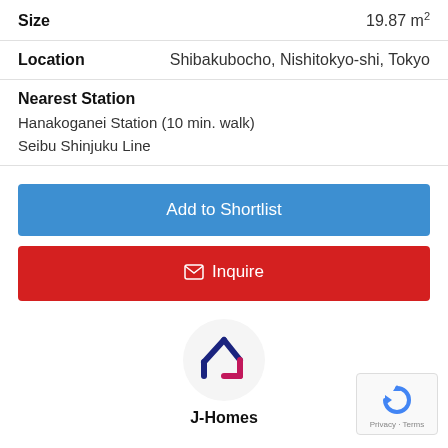| Field | Value |
| --- | --- |
| Size | 19.87 m² |
| Location | Shibakubocho, Nishitokyo-shi, Tokyo |
Nearest Station
Hanakoganei Station (10 min. walk)
Seibu Shinjuku Line
Add to Shortlist
Inquire
[Figure (logo): J-Homes logo: a house icon made of dark navy/pink angular lines inside a light grey circle]
J-Homes